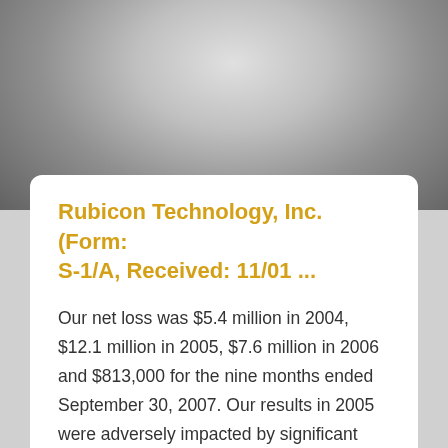[Figure (photo): Close-up photograph of a polished sapphire substrate roll or cylinder, showing metallic grey reflective surface in a curved form.]
Rubicon Technology, Inc. (Form: S-1/A, Received: 11/01 ...
Our net loss was $5.4 million in 2004, $12.1 million in 2005, $7.6 million in 2006 and $813,000 for the nine months ended September 30, 2007. Our results in 2005 were adversely impacted by significant decreases in two inch polished sapphire substrate prices and in 2006 we made the strategic decision to exit the two inch